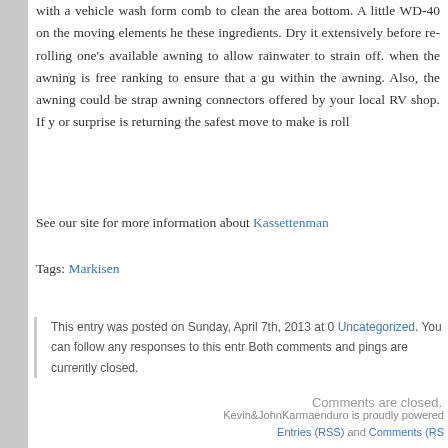with a vehicle wash form comb to clean the area bottom. A little WD-40 on the moving elements he these ingredients. Dry it extensively before re-rolling one's available awning to allow rainwater to strain off. when the awning is free ranking to ensure that a gu within the awning. Also, the awning could be strap awning connectors offered by your local RV shop. If y or surprise is returning the safest move to make is roll
See our site for more information about Kassettenman
Tags: Markisen
This entry was posted on Sunday, April 7th, 2013 at 0 Uncategorized. You can follow any responses to this entr Both comments and pings are currently closed.
Comments are closed.
Kevin&JohnKarmaenduro is proudly powered Entries (RSS) and Comments (RS